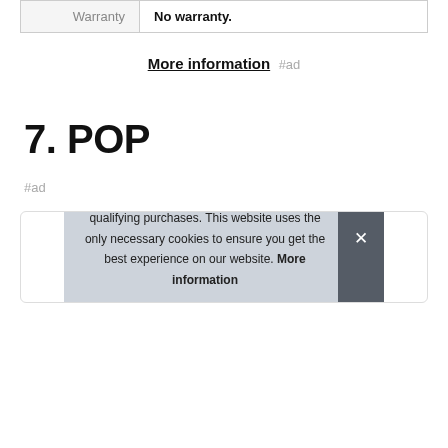| Warranty |  |
| --- | --- |
| Warranty | No warranty. |
More information #ad
7. POP
#ad
[Figure (photo): Product image partially visible at top of card]
As an Amazon Associate I earn from qualifying purchases. This website uses the only necessary cookies to ensure you get the best experience on our website. More information